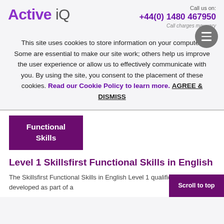Active iQ | Call us on: +44(0) 1480 467950 | Call charges may vary
This site uses cookies to store information on your computer. Some are essential to make our site work; others help us improve the user experience or allow us to effectively communicate with you. By using the site, you consent to the placement of these cookies. Read our Cookie Policy to learn more. AGREE & DISMISS
Functional Skills
Level 1 Skillsfirst Functional Skills in English
The Skillsfirst Functional Skills in English Level 1 qualification has been developed as part of a